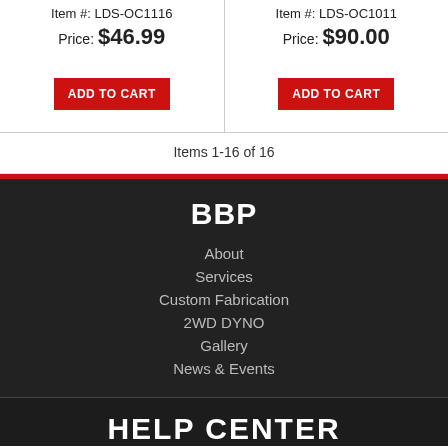Item #: LDS-OC1116
Price: $46.99
ADD TO CART
Item #: LDS-OC1011
Price: $90.00
ADD TO CART
Items 1-16 of 16
BBP
About
Services
Custom Fabrication
2WD DYNO
Gallery
News & Events
HELP CENTER